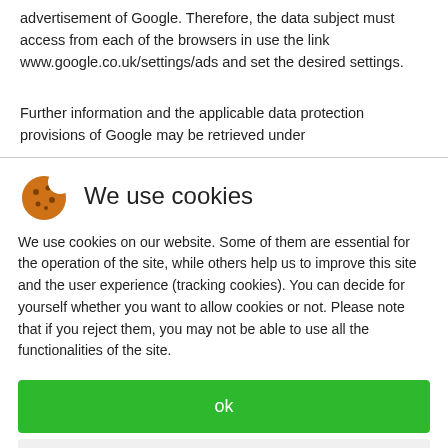advertisement of Google. Therefore, the data subject must access from each of the browsers in use the link www.google.co.uk/settings/ads and set the desired settings.
Further information and the applicable data protection provisions of Google may be retrieved under
We use cookies
We use cookies on our website. Some of them are essential for the operation of the site, while others help us to improve this site and the user experience (tracking cookies). You can decide for yourself whether you want to allow cookies or not. Please note that if you reject them, you may not be able to use all the functionalities of the site.
ok
decline